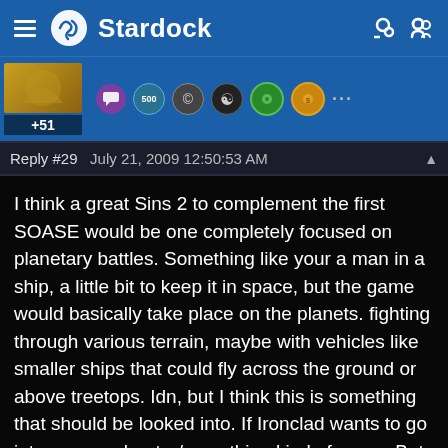Stardock
[Figure (screenshot): User avatar with gold/brown badge showing +51 reputation, followed by action icons row]
Reply #29   July 21, 2009 12:50:53 AM
I think a great Sins 2 to complement the first SOASE would be one completely focused on planetary battles. Something like your a man in a ship, a little bit to keep it in space, but the game would basically take place on the planets. fighting through various terrain, maybe with vehicles like smaller ships that could fly across the ground or above treetops. Idn, but I think this is something that should be looked into. If Ironclad wants to go into a more shooter/something kind of game. But I think planetary battle should be a LOT more focused on in a possible Sins 2.

EDIT: this could make with some REALLY cool scenes on